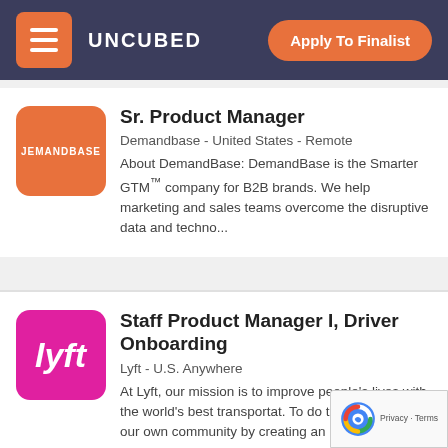UNCUBED — Apply To Finalist
Sr. Product Manager
Demandbase - United States - Remote
About DemandBase: DemandBase is the Smarter GTM™ company for B2B brands. We help marketing and sales teams overcome the disruptive data and techno...
Staff Product Manager I, Driver Onboarding
Lyft - U.S. Anywhere
At Lyft, our mission is to improve people's lives with the world's best transportat. To do this, we start with our own community by creating an ...